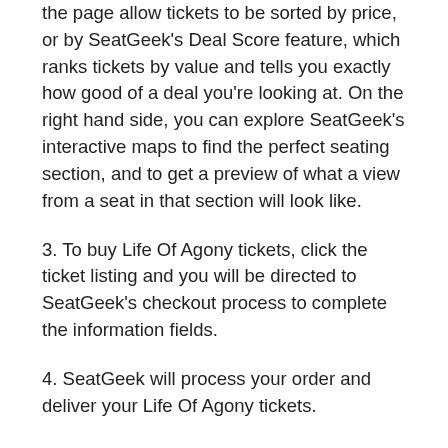the page allow tickets to be sorted by price, or by SeatGeek's Deal Score feature, which ranks tickets by value and tells you exactly how good of a deal you're looking at. On the right hand side, you can explore SeatGeek's interactive maps to find the perfect seating section, and to get a preview of what a view from a seat in that section will look like.
3. To buy Life Of Agony tickets, click the ticket listing and you will be directed to SeatGeek's checkout process to complete the information fields.
4. SeatGeek will process your order and deliver your Life Of Agony tickets.
Life Of Agony Tour Dates
See below for a list of Life Of Agony tour dates and locations. For all available tickets and to find shows